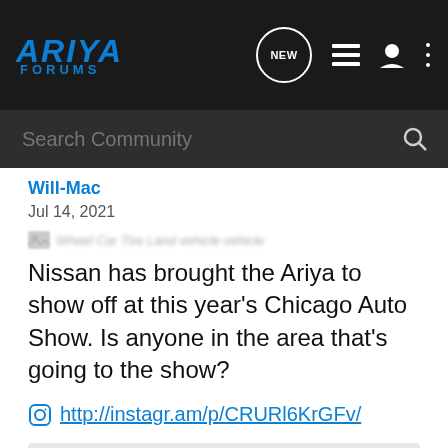ARIYA FORUMS
Will-Mac
Jul 14, 2021
[Figure (other): Blurred image tag label: Wheel Car Tire Land vehicle vehicle]
Nissan has brought the Ariya to show off at this year's Chicago Auto Show. Is anyone in the area that's going to the show?
http://instagr.am/p/CRURl6KrGFv/
[Figure (photo): Blurred/loading image preview area]